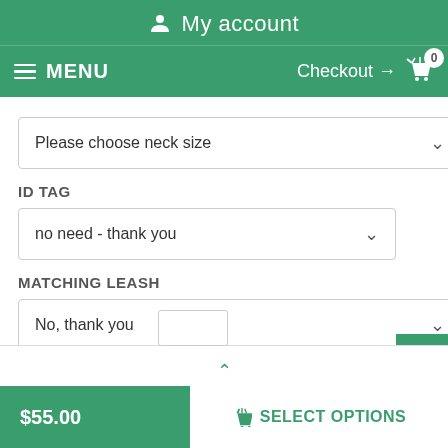My account
MENU  Checkout → 0
[Figure (screenshot): Dropdown selector labeled 'Please choose neck size' with chevron]
ID TAG
[Figure (screenshot): Dropdown selector showing 'no need - thank you' with chevron]
MATCHING LEASH
[Figure (screenshot): Dropdown selector showing 'No, thank you' with chevron]
$55.00
$55.00   SELECT OPTIONS